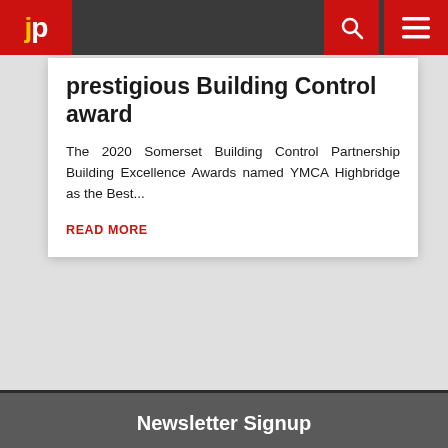jp
prestigious Building Control award
The 2020 Somerset Building Control Partnership Building Excellence Awards named YMCA Highbridge as the Best...
READ MORE
[Figure (other): Social media icons: Facebook, Twitter, Instagram, YouTube in red circles on dark background]
Newsletter Signup